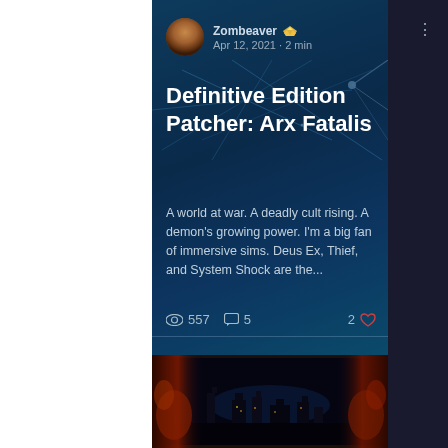Zombeaver ♛
Apr 12, 2021 · 2 min
Definitive Edition Patcher: Arx Fatalis
A world at war. A deadly cult rising. A demon's growing power. I'm a big fan of immersive sims. Deus Ex, Thief, and System Shock are the...
👁 557   💬 5   2 ♥